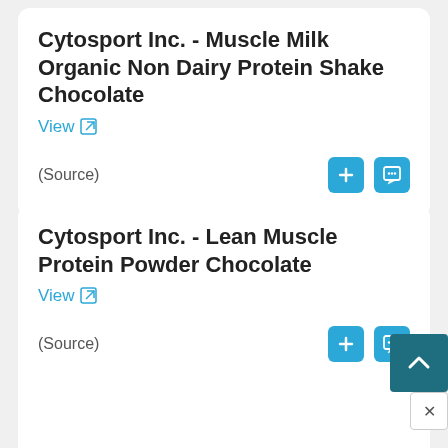Cytosport Inc. - Muscle Milk Organic Non Dairy Protein Shake Chocolate
View
(Source)
Cytosport Inc. - Lean Muscle Protein Powder Chocolate
View
(Source)
Cytosport Inc. - Original Non Dairy Protein Shake
View